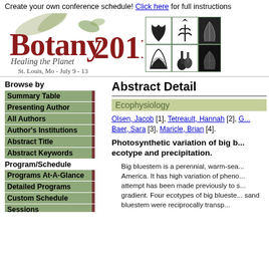Create your own conference schedule! Click here for full instructions
[Figure (logo): Botany 2011 Healing the Planet conference logo with botanical illustrations, St. Louis, Mo - July 9-13]
Browse by
Summary Table
Presenting Author
All Authors
Author's Institutions
Abstract Title
Abstract Keywords
Program/Schedule
Programs At-A-Glance
Detailed Programs
Custom Schedule
Sessions
Date/Time
Locations
or
Search
Botany 2011 Home
View Attendees
Abstract Detail
Ecophysiology
Olsen, Jacob [1], Tetreault, Hannah [2], G... Baer, Sara [3], Maricle, Brian [4].
Photosynthetic variation of big bluestem by ecotype and precipitation.
Big bluestem is a perennial, warm-season grass native to North America. It has high variation of phenotypic traits and no systematic attempt has been made previously to study this along a precipitation gradient. Four ecotypes of big bluestem and one ecotype of sand bluestem were reciprocally transplanted along a precipitation gradient of the Great Plains. Plant material was collected from pristine prairies in cent...